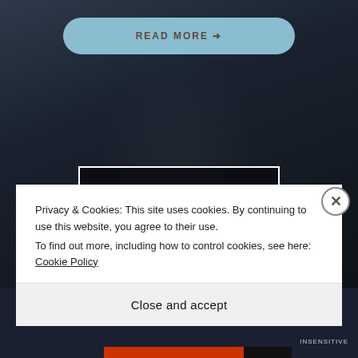[Figure (screenshot): Dark background webpage screenshot showing a 'READ MORE' button with light blue pill shape, the word INSENSITIVE in a white-bordered black box, and a cookie consent overlay at the bottom]
READ MORE →
INSENSITIVE
Privacy & Cookies: This site uses cookies. By continuing to use this website, you agree to their use.
To find out more, including how to control cookies, see here: Cookie Policy
Close and accept